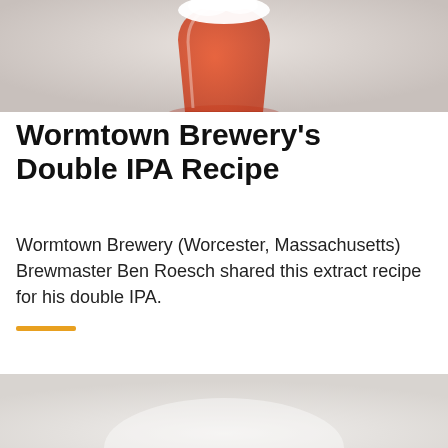[Figure (photo): A glass of amber/red double IPA beer with a white foam head, photographed against a light grey background. The glass is a tulip-style beer glass filled with reddish-orange beer.]
Wormtown Brewery's Double IPA Recipe
Wormtown Brewery (Worcester, Massachusetts) Brewmaster Ben Roesch shared this extract recipe for his double IPA.
[Figure (photo): Bottom portion of a second photo, light grey/white background, partially visible.]